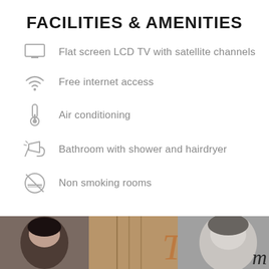FACILITIES & AMENITIES
Flat screen LCD TV with satellite channels
Free internet access
Air conditioning
Bathroom with shower and hairdryer
Non smoking rooms
[Figure (photo): Bottom strip of black and white and sepia photographs of women, likely vintage/classic Hollywood style images, with a letter 'm' visible on the right]